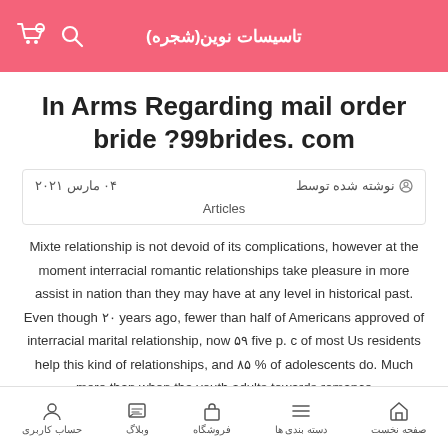تاسیسات نوین(شجره)
In Arms Regarding mail order bride ?99brides. com
نوشته شده توسط   ۰۴ مارس ۲۰۲۱
Articles
Mixte relationship is not devoid of its complications, however at the moment interracial romantic relationships take pleasure in more assist in nation than they may have at any level in historical past. Even though ۲۰ years ago, fewer than half of Americans approved of interracial marital relationship, now ۵۹ five p. c of most Us residents help this kind of relationships, and ۸۵ % of adolescents do. Much more than when the youth adults towards romance
صفحه نخست  دسته بندی ها  فروشگاه  وبلاگ  حساب کاربری